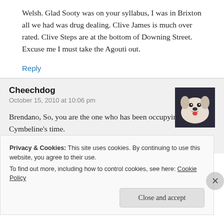Welsh. Glad Sooty was on your syllabus, I was in Brixton all we had was drug dealing. Clive James is much over rated. Clive Steps are at the bottom of Downing Street. Excuse me I must take the Agouti out.
Reply
Cheechdog
October 15, 2010 at 10:06 pm
Brendano, So, you are the one who has been occupying Cymbeline's time.
Privacy & Cookies: This site uses cookies. By continuing to use this website, you agree to their use.
To find out more, including how to control cookies, see here: Cookie Policy
Close and accept